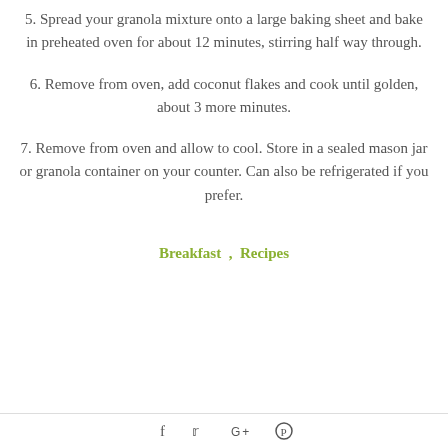5. Spread your granola mixture onto a large baking sheet and bake in preheated oven for about 12 minutes, stirring half way through.
6. Remove from oven, add coconut flakes and cook until golden, about 3 more minutes.
7. Remove from oven and allow to cool. Store in a sealed mason jar or granola container on your counter. Can also be refrigerated if you prefer.
Breakfast , Recipes
[Figure (other): Social media sharing icons: Facebook, Twitter, Google+, Pinterest]